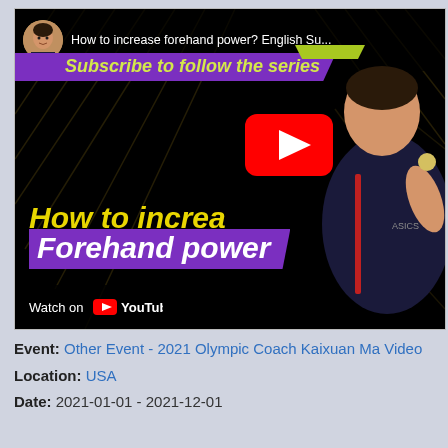[Figure (screenshot): YouTube video thumbnail for 'How to increase forehand power? English Subtitles' featuring a table tennis coach (Kaixuan Ma). Shows black background, yellow/purple text overlay reading 'How to increase Forehand power', a YouTube play button, and a 'Watch on YouTube' bar at the bottom. Top bar shows channel avatar and video title. Subscribe to follow the series text in yellow-green on purple band.]
Event: Other Event - 2021 Olympic Coach Kaixuan Ma Video
Location: USA
Date: 2021-01-01 - 2021-12-01